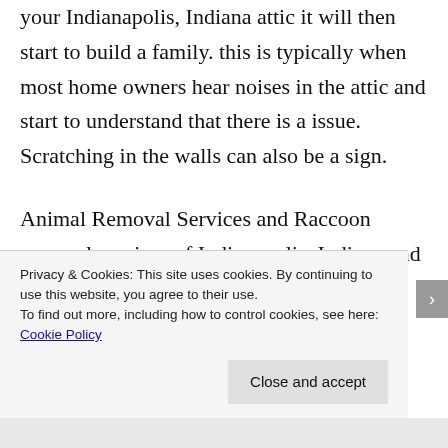your Indianapolis, Indiana attic it will then start to build a family. this is typically when most home owners hear noises in the attic and start to understand that there is a issue. Scratching in the walls can also be a sign.
Animal Removal Services and Raccoon removal services of Indianapolis, Indiana and...
Privacy & Cookies: This site uses cookies. By continuing to use this website, you agree to their use.
To find out more, including how to control cookies, see here: Cookie Policy
Close and accept